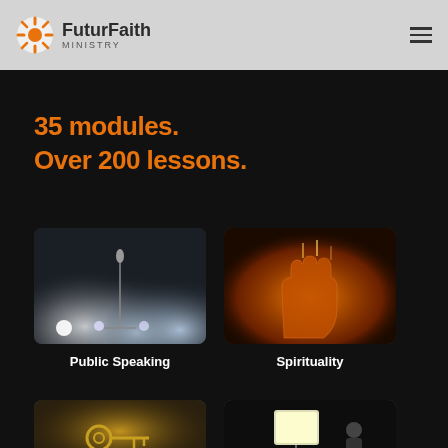FuturFaith MINISTRY
35 modules.
Over 200 lessons.
[Figure (photo): Stage microphone with bright spotlights in blue/grey tones]
Public Speaking
[Figure (photo): Hand raised with warm orange light glowing through fingers]
Spirituality
[Figure (photo): Gold keys and documents in sunlight]
[Figure (photo): Person with video/studio lighting rig in dark setting]